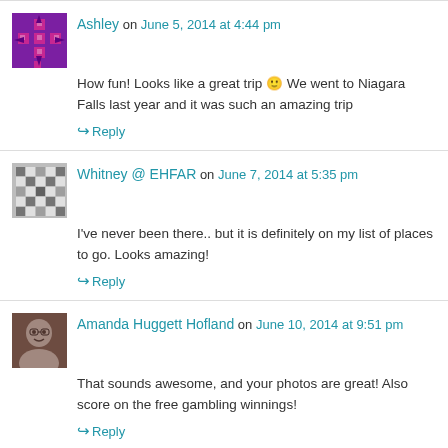Ashley on June 5, 2014 at 4:44 pm
How fun! Looks like a great trip 🙂 We went to Niagara Falls last year and it was such an amazing trip
Reply
Whitney @ EHFAR on June 7, 2014 at 5:35 pm
I've never been there.. but it is definitely on my list of places to go. Looks amazing!
Reply
Amanda Huggett Hofland on June 10, 2014 at 9:51 pm
That sounds awesome, and your photos are great! Also score on the free gambling winnings!
Reply
Pingback: Friday Five: Travel Blog Posts | ProbablyRachel